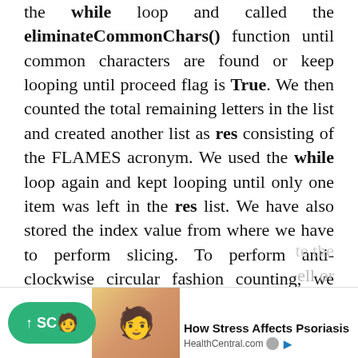the while loop and called the eliminateCommonChars() function until common characters are found or keep looping until proceed flag is True. We then counted the total remaining letters in the list and created another list as res consisting of the FLAMES acronym. We used the while loop again and kept looping until only one item was left in the res list. We have also stored the index value from where we have to perform slicing. To perform anti-clockwise circular fashion counting, we have to check if the split index is greater than or equal to zero. At last, we have done list slicing and list concatenation and printed the result.
[Figure (other): Advertisement banner: How Stress Affects Psoriasis - HealthCentral.com, with a green scroll-up button, photo of a woman, and sponsored label]